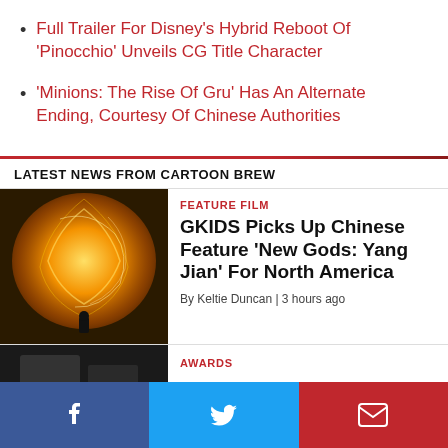Full Trailer For Disney's Hybrid Reboot Of 'Pinocchio' Unveils CG Title Character
'Minions: The Rise Of Gru' Has An Alternate Ending, Courtesy Of Chinese Authorities
LATEST NEWS FROM CARTOON BREW
[Figure (photo): Fiery golden dragon-like creature scene from animated feature film]
FEATURE FILM
GKIDS Picks Up Chinese Feature 'New Gods: Yang Jian' For North America
By Keltie Duncan | 3 hours ago
[Figure (photo): Dark scene from awards news story, partially visible]
AWARDS
[Figure (infographic): Social media share bar with Facebook, Twitter, and email icons]